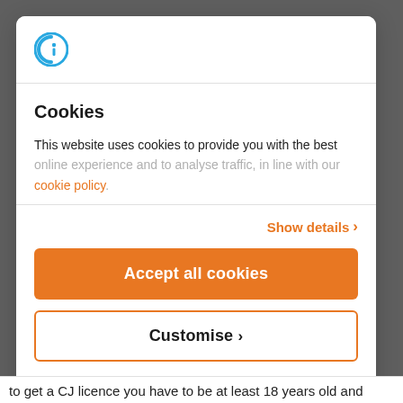[Figure (logo): Cookiebot/Usercentrics logo: a circular icon with a 'C' shape in teal/blue with an 'i' inside]
Cookies
This website uses cookies to provide you with the best online experience and to analyse traffic, in line with our cookie policy.
Show details >
Accept all cookies
Customise >
Powered by Cookiebot by Usercentrics
to get a CJ licence you have to be at least 18 years old and